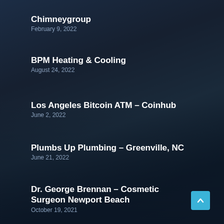Chimneygroup
February 9, 2022
BPM Heating & Cooling
August 24, 2022
Los Angeles Bitcoin ATM – Coinhub
June 2, 2022
Plumbs Up Plumbing – Greenville, NC
June 21, 2022
Dr. George Brennan – Cosmetic Surgeon Newport Beach
October 19, 2021